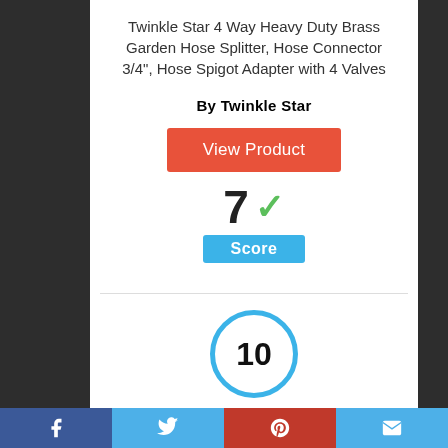Twinkle Star 4 Way Heavy Duty Brass Garden Hose Splitter, Hose Connector 3/4", Hose Spigot Adapter with 4 Valves
By Twinkle Star
View Product
[Figure (infographic): Score display showing the number 7 with a green checkmark and a blue 'Score' badge below it]
[Figure (infographic): Circle with number 10 inside, outlined in blue]
Facebook | Twitter | Pinterest | Email social share bar